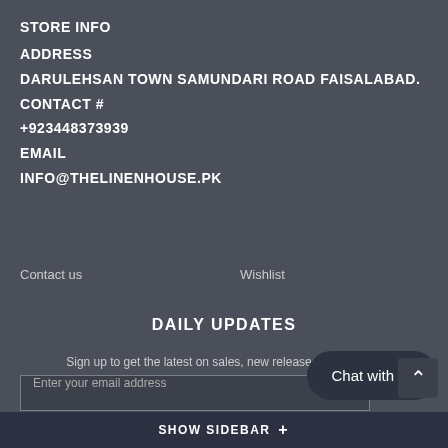STORE INFO
ADDRESS
DARULEHSAN TOWN SAMUNDARI ROAD FAISALABAD.
CONTACT #
+923448373939
EMAIL
INFO@THELINENHOUSE.PK
Contact us
Wishlist
DAILY UPDATES
Sign up to get the latest on sales, new releases and more...
Enter your email address
SUBSCRIBE
Chat with us
SHOW SIDEBAR +